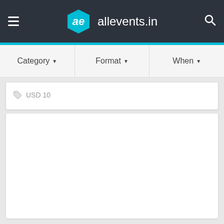allevents.in
Category ▾  Format ▾  When ▾
USD 10
[Figure (other): Empty white card placeholder for event listing]